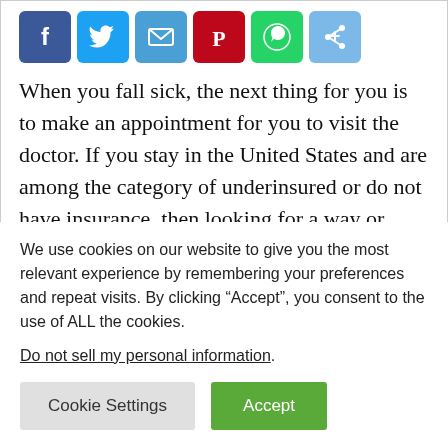[Figure (other): Social media sharing icons: Facebook (blue), Twitter (light blue), Email (blue), Pinterest (red), WhatsApp (green), Share (light blue)]
When you fall sick, the next thing for you is to make an appointment for you to visit the doctor. If you stay in the United States and are among the category of underinsured or do not have insurance, then looking for a way or place to get medical care isn't as easy or simple as it might sound.
We use cookies on our website to give you the most relevant experience by remembering your preferences and repeat visits. By clicking “Accept”, you consent to the use of ALL the cookies.
Do not sell my personal information.
Cookie Settings  Accept